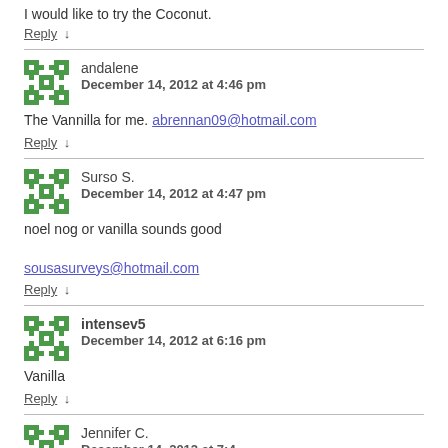I would like to try the Coconut.
Reply ↓
andalene
December 14, 2012 at 4:46 pm
The Vannilla for me. abrennan09@hotmail.com
Reply ↓
Surso S.
December 14, 2012 at 4:47 pm
noel nog or vanilla sounds good
sousasurveys@hotmail.com
Reply ↓
intensev5
December 14, 2012 at 6:16 pm
Vanilla
Reply ↓
Jennifer C.
December 14, 2012 at ...